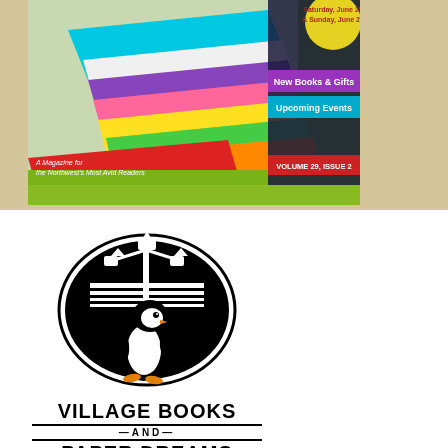[Figure (illustration): Magazine cover showing colorful stacked books on a grassy surface. Cover includes text: 'Saturday, June 25 & Sunday, June 26', 'New Books & Gifts', 'Upcoming Events', 'A Magazine for the Northwest's Most Avid Readers', 'VOLUME 29, ISSUE 2']
[Figure (logo): Village Books and Paper Dreams logo: black and white oval emblem with a penguin standing in front of a lamppost with horizontal lines, above text reading 'VILLAGE BOOKS AND PAPER DREAMS — BUILDING COMMUNITY SINCE 1980']